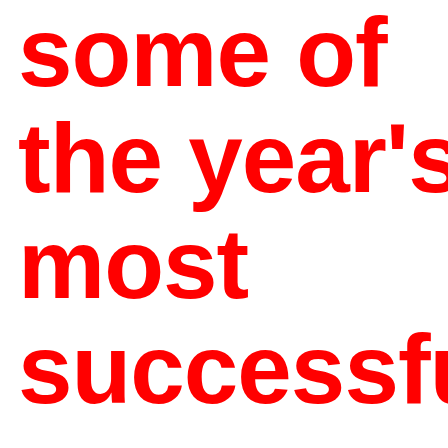some of the year's most successful songs. Feel the Love which